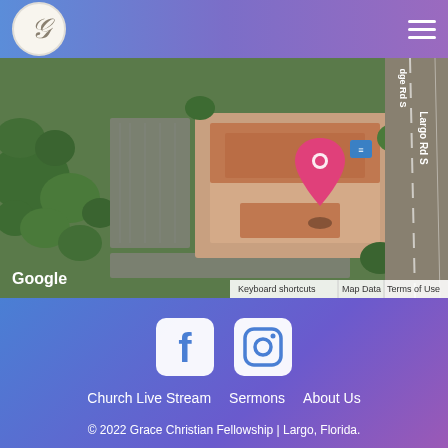Grace Christian Fellowship — navigation header with logo and hamburger menu
[Figure (map): Google Maps satellite view showing aerial view of Grace Christian Fellowship church building in Largo, Florida, with a pink location pin marker, surrounded by trees and parking lots, with Largo Rd S visible on the right side. Map labels: Google, Keyboard shortcuts, Map Data, Terms of Use]
[Figure (infographic): Social media icons: Facebook (f) and Instagram camera icons in white]
Church Live Stream   Sermons   About Us
© 2022 Grace Christian Fellowship | Largo, Florida.